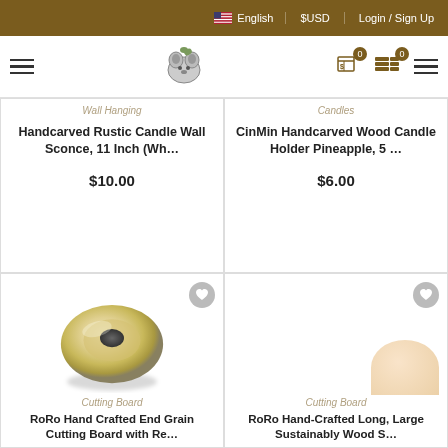English | $USD | Login / Sign Up
[Figure (screenshot): E-commerce website navigation bar with hamburger menu, raccoon logo, cart icons, and hamburger menu on right]
Wall Hanging
Handcarved Rustic Candle Wall Sconce, 11 Inch (Wh…
$10.00
Candles
CinMin Handcarved Wood Candle Holder Pineapple, 5 …
$6.00
[Figure (photo): Round wooden candle holder with circular indentation, natural wood color, blurry background]
Cutting Board
RoRo Hand Crafted End Grain Cutting Board with Re…
[Figure (photo): Partial view of a small peach/beige round wooden object partially visible at bottom right]
Cutting Board
RoRo Hand-Crafted Long, Large Sustainably Wood S…